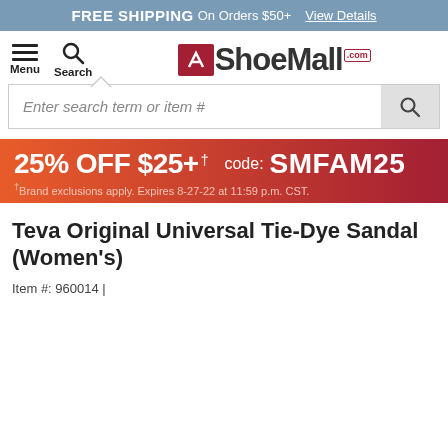FREE SHIPPING On Orders $50+  View Details
[Figure (logo): ShoeMall.com logo with hamburger menu and search icon]
Enter search term or item #
[Figure (infographic): Promotional banner: 25% OFF $25+ †  code: SMFAM25  †Brand exclusions apply. Expires 8-27-22 at 11:59 p.m. CST.]
Teva Original Universal Tie-Dye Sandal (Women's)
Item #: 960014 |